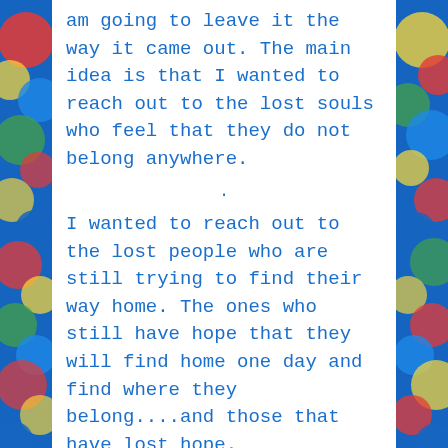am going to leave it the way it came out. The main idea is that I wanted to reach out to the lost souls who feel that they do not belong anywhere.
I wanted to reach out to the lost people who are still trying to find their way home. The ones who still have hope that they will find home one day and find where they belong....and those that have lost hope.
There are other lost souls and every one is special